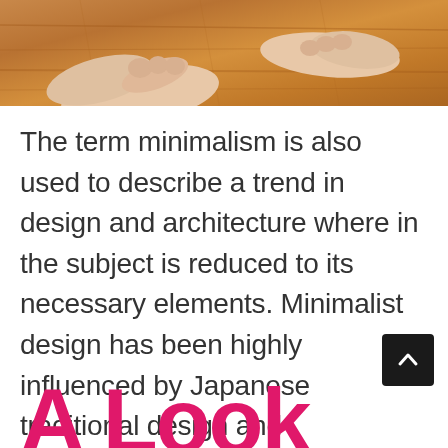[Figure (photo): Hands on a wooden surface, viewed from above, suggesting craftsmanship or design work]
The term minimalism is also used to describe a trend in design and architecture where in the subject is reduced to its necessary elements. Minimalist design has been highly influenced by Japanese traditional design and architecture. In addition, the work of De Stijl artists is a major source of reference for this kind of work.
A Look